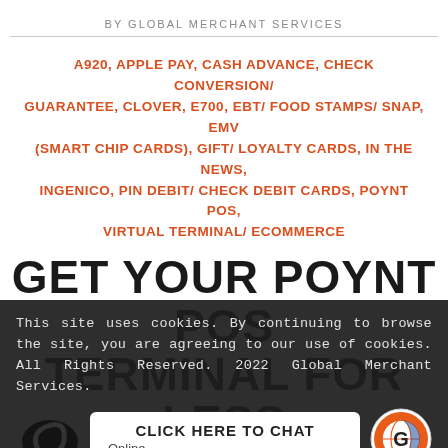BY GLOBAL MERCHANT SERVICES
A920, APPLE PAY, CASH ADVANCE, CHECK CONVERSION/ GUARANTEE, CLOVER, E700, EBT/ FOOD STAMPS/ SNAP, EMV (SMART CHIP CARDS), GIFT/ LOYALTY CARDS, IN THE NEWS, INGENICO, PIN DEBIT/ CHECK DEBIT CARDS, POYNT POS, VIRTUAL TERMINAL/ ECOMMERCE
GET YOUR POYNT POS TERMINAL FOR LESS THAN $ 2.00 A DAY
This site uses cookies. By continuing to browse the site, you are agreeing to our use of cookies. All Rights Reserved. 2022 Global Merchant Services.
CLICK HERE TO CHAT
Online
[Figure (logo): Global Merchant Services circular logo with globe and 'G' letter in orange, blue, and white]